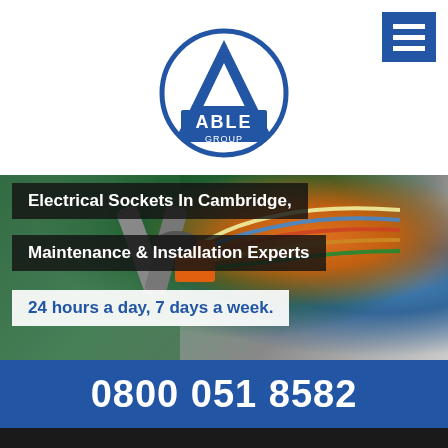[Figure (logo): Able Group logo — blue circular badge with letter A and 'ABLE GROUP' text]
[Figure (photo): Close-up photo of electrician's gloved hands using pliers on colorful electrical wires — teal gloves, orange wire connector, multi-colored cables]
Electrical Sockets In Cambridge, Maintenance & Installation Experts
24 hours a day, 7 days a week.
0800 051 8582
Book one of our experts, today
Click To Get a Free Quote
Calls made will not be charged